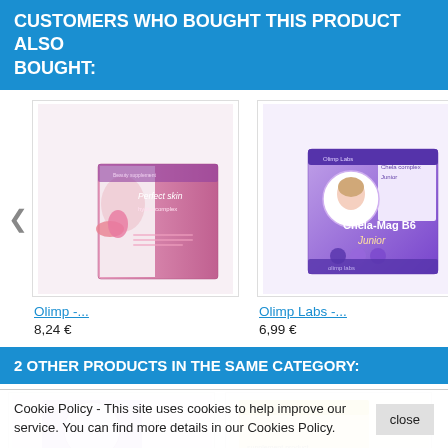CUSTOMERS WHO BOUGHT THIS PRODUCT ALSO BOUGHT:
[Figure (photo): Product image: Perfect Skin Hydro-Complex box]
Olimp -...
8,24 €
[Figure (photo): Product image: Chela-Mag B6 Junior box]
Olimp Labs -...
6,99 €
[Figure (photo): Partially visible third product]
TRE
19,9
2 OTHER PRODUCTS IN THE SAME CATEGORY:
[Figure (photo): Partially visible product image bottom left - Chela-Mag B6]
[Figure (photo): Partially visible product image bottom right]
Cookie Policy - This site uses cookies to help improve our service. You can find more details in our Cookies Policy.